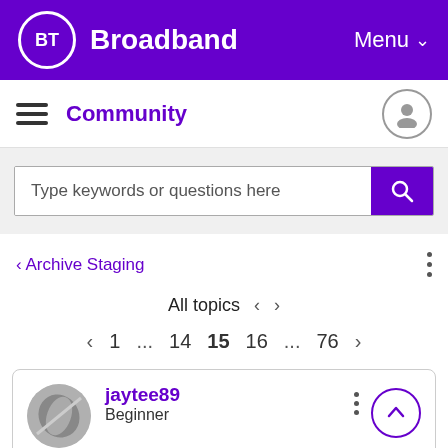BT Broadband Menu
Community
Type keywords or questions here
< Archive Staging
All topics < >
< 1 ... 14 15 16 ... 76 >
jaytee89 Beginner